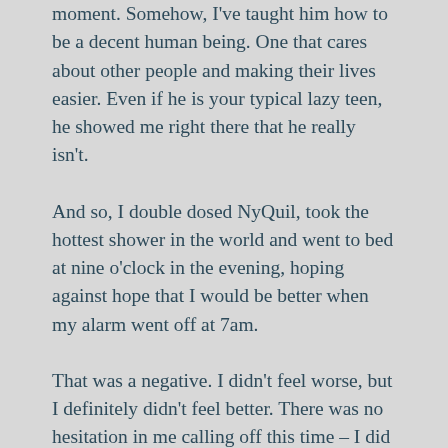moment. Somehow, I've taught him how to be a decent human being. One that cares about other people and making their lives easier. Even if he is your typical lazy teen, he showed me right there that he really isn't.
And so, I double dosed NyQuil, took the hottest shower in the world and went to bed at nine o'clock in the evening, hoping against hope that I would be better when my alarm went off at 7am.
That was a negative. I didn't feel worse, but I definitely didn't feel better. There was no hesitation in me calling off this time – I did it before I even got out of bed. I laid there, worried. Trying to remember all the COVID symptoms. I didn't have a fever – I'd been checking religiously.  No shortness of breath, either. Despite the double dose of NyQuil I had been up and down all night though, and the headache was still there on and on, and the headache was